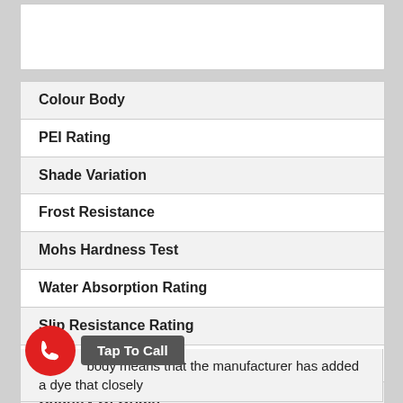| Colour Body |
| PEI Rating |
| Shade Variation |
| Frost Resistance |
| Mohs Hardness Test |
| Water Absorption Rating |
| Slip Resistance Rating |
| Recommended Usage |
| Country Of Origin |
fin... body means that the manufacturer has added a dye that closely
[Figure (other): Red circular phone/call button icon with white phone handset graphic]
Tap To Call